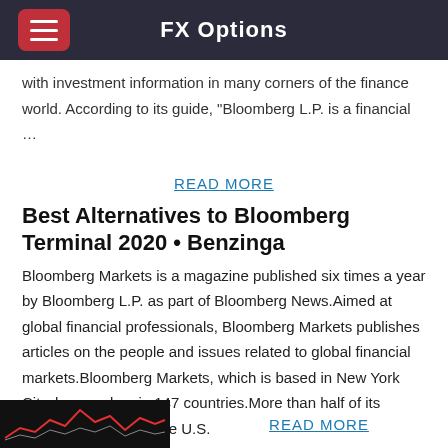FX Options
with investment information in many corners of the finance world. According to its guide, "Bloomberg L.P. is a financial …
READ MORE
Best Alternatives to Bloomberg Terminal 2020 • Benzinga
Bloomberg Markets is a magazine published six times a year by Bloomberg L.P. as part of Bloomberg News.Aimed at global financial professionals, Bloomberg Markets publishes articles on the people and issues related to global financial markets.Bloomberg Markets, which is based in New York City, has readers in 147 countries.More than half of its readers live outside the U.S.
READ MORE